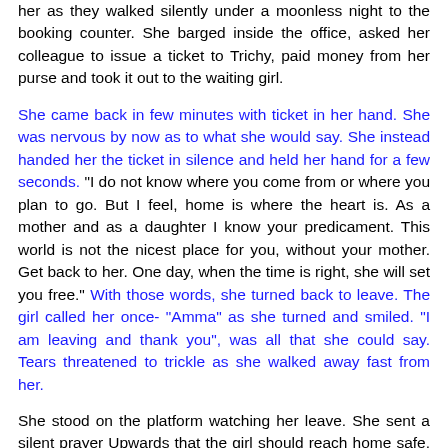her as they walked silently under a moonless night to the booking counter. She barged inside the office, asked her colleague to issue a ticket to Trichy, paid money from her purse and took it out to the waiting girl.
She came back in few minutes with ticket in her hand. She was nervous by now as to what she would say. She instead handed her the ticket in silence and held her hand for a few seconds. "I do not know where you come from or where you plan to go. But I feel, home is where the heart is. As a mother and as a daughter I know your predicament. This world is not the nicest place for you, without your mother. Get back to her. One day, when the time is right, she will set you free." With those words, she turned back to leave. The girl called her once- "Amma" as she turned and smiled. "I am leaving and thank you", was all that she could say. Tears threatened to trickle as she walked away fast from her.
She stood on the platform watching her leave. She sent a silent prayer Upwards that the girl should reach home safe. As she walked back to the counter, she let out a sigh. It was going to be a very long night and her children would be